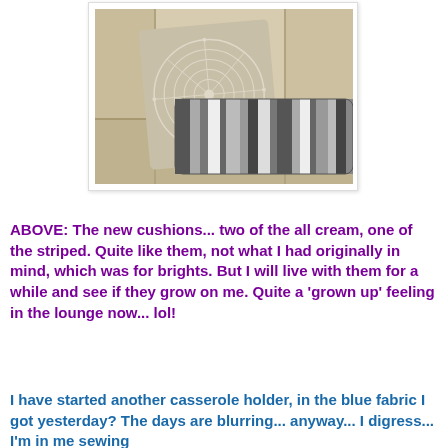[Figure (photo): Photo of two decorative cushions on a cream leather sofa. One cushion is square with a cream/beige mandala-style circular pattern. The other is a rectangular bolster cushion with grey and white vertical stripes.]
ABOVE:  The new cushions... two of the all cream, one of the striped.  Quite like them, not what I had originally in mind, which was for brights.   But I will live with them for a while and see if they grow on me.  Quite a 'grown up' feeling in the lounge now... lol!
I have started another casserole holder, in the blue fabric I got yesterday?  The days are blurring... anyway...  I digress...  I'm in me sewing